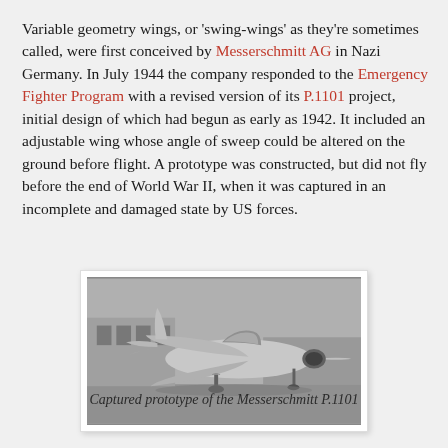Variable geometry wings, or 'swing-wings' as they're sometimes called, were first conceived by Messerschmitt AG in Nazi Germany. In July 1944 the company responded to the Emergency Fighter Program with a revised version of its P.1101 project, initial design of which had begun as early as 1942. It included an adjustable wing whose angle of sweep could be altered on the ground before flight. A prototype was constructed, but did not fly before the end of World War II, when it was captured in an incomplete and damaged state by US forces.
[Figure (photo): Black and white photograph of the Messerschmitt P.1101 prototype aircraft on the ground, showing its swept-wing design, single jet engine intake at the nose, and tricycle landing gear.]
Captured prototype of the Messerschmitt P.1101